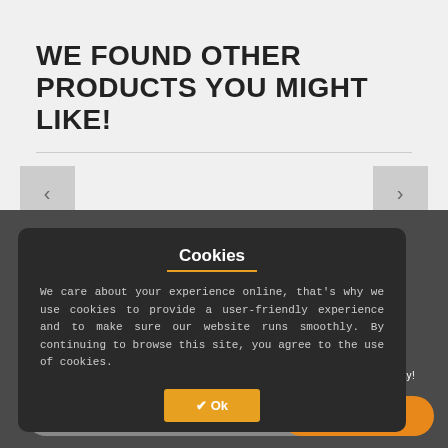WE FOUND OTHER PRODUCTS YOU MIGHT LIKE!
[Figure (screenshot): Carousel navigation with left and right arrow buttons on a light gray background]
Cookies
We care about your experience online, that's why we use cookies to provide a user-friendly experience and to make sure our website runs smoothly. By continuing to browse this site, you agree to the use of cookies.
SIGN UP FOR NEWSLETTER
Sign up for exclusive Discounts, Codes and Offers. Sign up for newsletter today!
✔ Ok
SUBSCRIBE